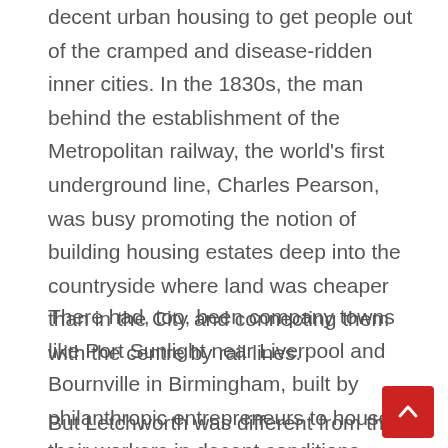decent urban housing to get people out of the cramped and disease-ridden inner cities. In the 1830s, the man behind the establishment of the Metropolitan railway, the world's first underground line, Charles Pearson, was busy promoting the notion of building housing estates deep into the countryside where land was cheaper than in the City and connecting them with the centre by rail lines.
There had, too, been company towns like Port Sunlight near Liverpool and Bournville in Birmingham, built by philanthropic entrepreneurs to house their workers in decent conditions.
But Letchworth was different from these earlier